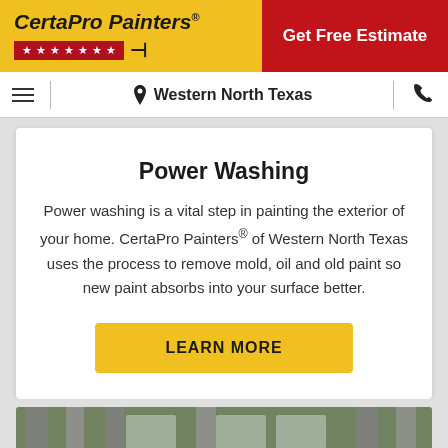[Figure (logo): CertaPro Painters logo with yellow background, black bold italic text, red star bar and brush icon]
Get Free Estimate
Western North Texas
Power Washing
Power washing is a vital step in painting the exterior of your home. CertaPro Painters® of Western North Texas uses the process to remove mold, oil and old paint so new paint absorbs into your surface better.
LEARN MORE
[Figure (photo): Partial view of a home exterior with columns and windows, greenery in background]